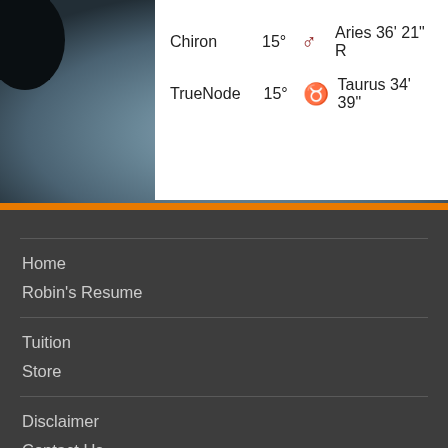[Figure (other): Top section with planetary/astrological data table on white background over a blue-grey atmospheric background image (Jupiter-like planet)]
Chiron    15°  ♈  Aries 36' 21" R
TrueNode  15°  ♉  Taurus 34' 39"
Home
Robin's Resume
Tuition
Store
Disclaimer
Contact Us